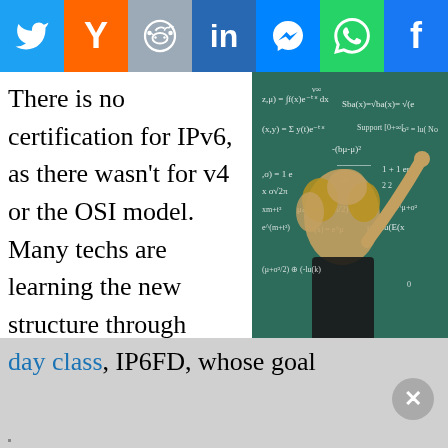[Figure (infographic): Social media share bar with Twitter, Y Combinator, Reddit, LinkedIn, Messenger, WhatsApp, and Facebook icons on colored backgrounds]
There is no certification for IPv6, as there wasn't for v4 or the OSI model. Many techs are learning the new structure through books and online resources, as well as creating virtual environments on a laptop. For those who want formal training, Cisco offers a five day class, IP6FD, whose goal
[Figure (photo): Person with curly hair writing mathematical equations on a chalkboard]